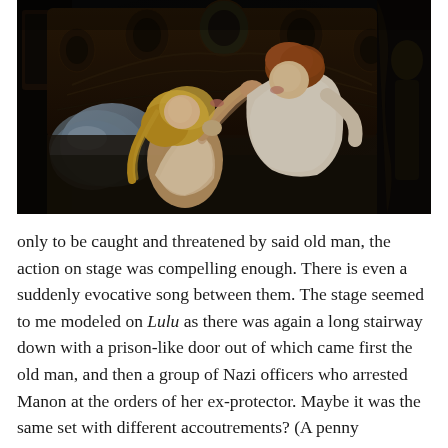[Figure (photo): A theatrical stage scene showing a blonde woman in a light pink/beige dress kissing or nearly kissing a young man in a white shirt, both seated on an ornate dark bed with decorative headboard and blue pillows. The scene appears to be from an opera or stage production, set against a dark background.]
only to be caught and threatened by said old man, the action on stage was compelling enough. There is even a suddenly evocative song between them. The stage seemed to me modeled on Lulu as there was again a long stairway down with a prison-like door out of which came first the old man, and then a group of Nazi officers who arrested Manon at the orders of her ex-protector. Maybe it was the same set with different accoutrements? (A penny